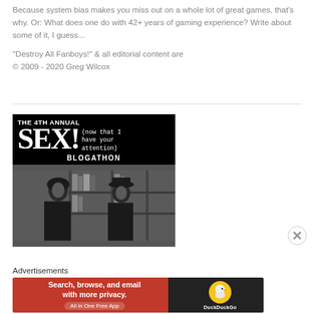Because system bias makes you miss out on a whole lot of great games, that's why. Or: What does one do with 42+ years of gaming experience? Write about some of it, I guess...
"Destroy All Fanboys!" & all editorial content are
© 2009 - 2020 Greg Wilcox
[Figure (illustration): Promotional image for 'The 4th Annual SEX! (now that I have your attention) BLOGATHON' with large white text on black background above a black-and-white film still of a man and woman facing each other in a library setting.]
Advertisements
[Figure (other): DuckDuckGo advertisement banner: 'Search, browse, and email with more privacy. All in One Free App' on red background with DuckDuckGo logo on dark background.]